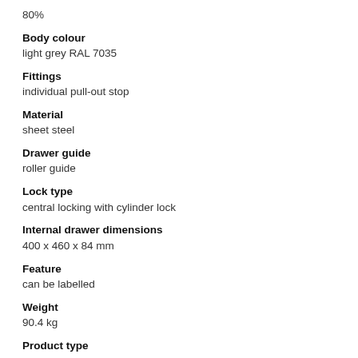80%
Body colour
light grey RAL 7035
Fittings
individual pull-out stop
Material
sheet steel
Drawer guide
roller guide
Lock type
central locking with cylinder lock
Internal drawer dimensions
400 x 460 x 84 mm
Feature
can be labelled
Weight
90.4 kg
Product type